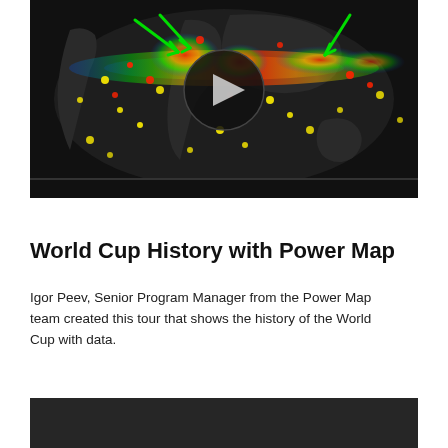[Figure (screenshot): Video thumbnail of a Power Map visualization showing a dark globe/world map with colorful heat map data points (red, yellow, green, blue) overlaid. A play button is visible in the center. Green arrow indicators point to highlighted regions. A progress bar is at the bottom of the video player.]
World Cup History with Power Map
Igor Peev, Senior Program Manager from the Power Map team created this tour that shows the history of the World Cup with data.
[Figure (screenshot): Bottom portion of a second dark video thumbnail, mostly dark gray/black background, partially visible at the bottom of the page.]